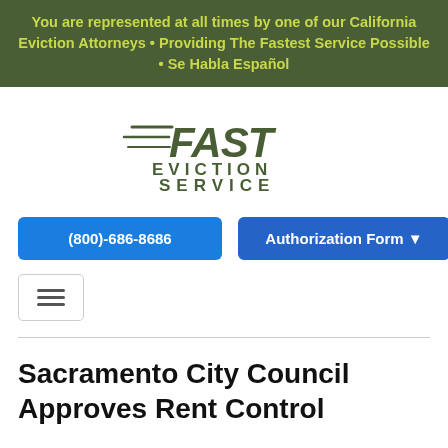You are represented at all times by one of our California Eviction Attorneys • Providing The Fastest Service Possible • Se Habla Español
[Figure (logo): Fast Eviction Service logo with speed lines, green text on white background]
(800)-686-8686
Authorization Form ▾
[Figure (other): Hamburger menu icon button]
Sacramento City Council Approves Rent Control